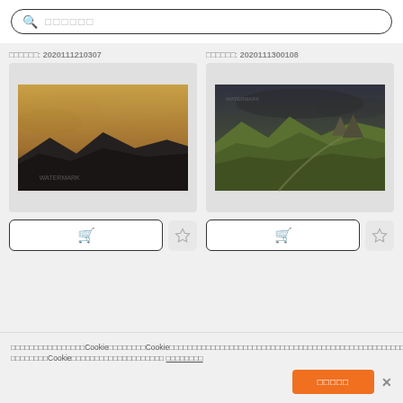[Figure (screenshot): Search bar with magnifying glass icon and placeholder text in Japanese/CJK characters]
oooooo: 2020111210307
oooooo: 2020111300108
[Figure (photo): Landscape photo of mountains with dramatic cloudy sky in warm golden tones]
[Figure (photo): Landscape photo of green rolling hills with dark stormy sky]
oooooooooooooooooCookieooooooooCookieoooooooooooooooooooooooooooooooooooooooooooooooooooooooooooooooooooooooCookieoooooooooooooooooooo oooooooo
ooooo